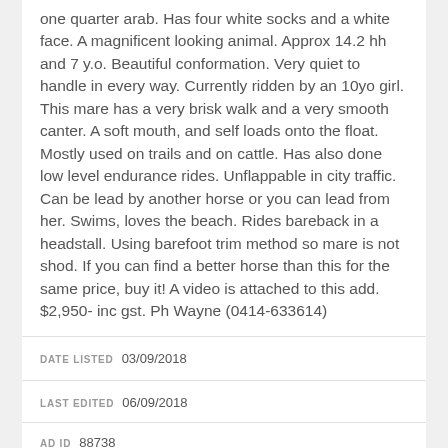one quarter arab. Has four white socks and a white face. A magnificent looking animal. Approx 14.2 hh and 7 y.o. Beautiful conformation. Very quiet to handle in every way. Currently ridden by an 10yo girl. This mare has a very brisk walk and a very smooth canter. A soft mouth, and self loads onto the float. Mostly used on trails and on cattle. Has also done low level endurance rides. Unflappable in city traffic. Can be lead by another horse or you can lead from her. Swims, loves the beach. Rides bareback in a headstall. Using barefoot trim method so mare is not shod. If you can find a better horse than this for the same price, buy it! A video is attached to this add. $2,950- inc gst. Ph Wayne (0414-633614)
DATE LISTED  03/09/2018
LAST EDITED  06/09/2018
AD ID  88738